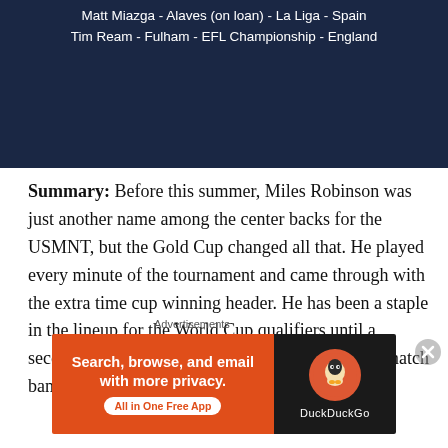[Figure (other): Dark navy blue banner with white text listing player names, clubs, leagues, and countries: 'Matt Miazga - Alaves (on loan) - La Liga - Spain' and 'Tim Ream - Fulham - EFL Championship - England']
Summary: Before this summer, Miles Robinson was just another name among the center backs for the USMNT, but the Gold Cup changed all that. He played every minute of the tournament and came through with the extra time cup winning header. He has been a staple in the lineup for the World Cup qualifiers until a second yellow vs. Mexico landed him with a one match ban vs. Jamaica. McKenzie
Advertisements
[Figure (screenshot): DuckDuckGo advertisement banner: orange section with text 'Search, browse, and email with more privacy. All in One Free App' and dark section with DuckDuckGo logo]